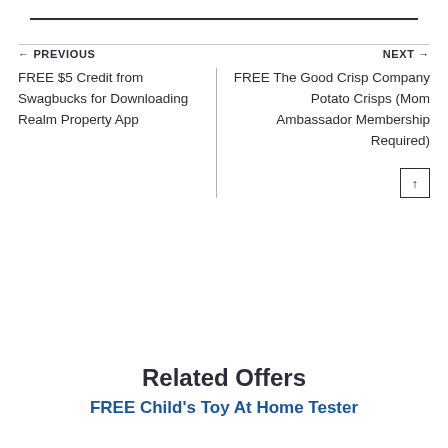← PREVIOUS
NEXT →
FREE $5 Credit from Swagbucks for Downloading Realm Property App
FREE The Good Crisp Company Potato Crisps (Mom Ambassador Membership Required)
Related Offers
FREE Child's Toy At Home Tester